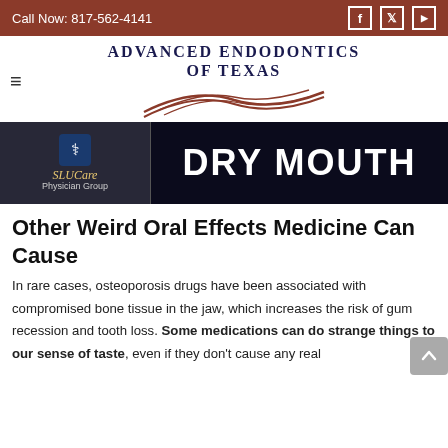Call Now: 817-562-4141
[Figure (logo): Advanced Endodontics of Texas logo with swoosh graphic and hamburger menu icon]
[Figure (photo): Dark banner image showing SLUCare Physician Group logo on the left and 'DRY MOUTH' text in large white letters on a dark blue/black background]
Other Weird Oral Effects Medicine Can Cause
In rare cases, osteoporosis drugs have been associated with compromised bone tissue in the jaw, which increases the risk of gum recession and tooth loss. Some medications can do strange things to our sense of taste, even if they don't cause any real